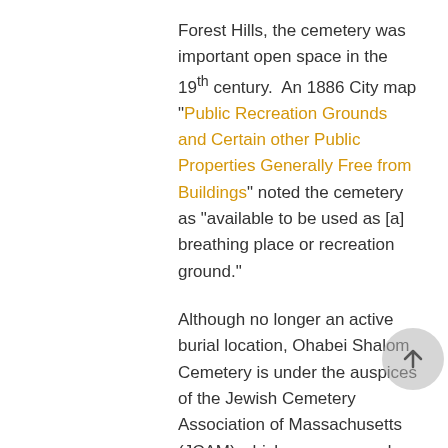Forest Hills, the cemetery was important open space in the 19th century. An 1886 City map "Public Recreation Grounds and Certain other Public Properties Generally Free from Buildings" noted the cemetery as "available to be used as [a] breathing place or recreation ground."
Although no longer an active burial location, Ohabei Shalom Cemetery is under the auspices of the Jewish Cemetery Association of Massachusetts (JCAM) which manages and maintains it. Most recently, JCAM has planned a Jewish heritage and cultural center in the cemetery's 1903 chapel building.